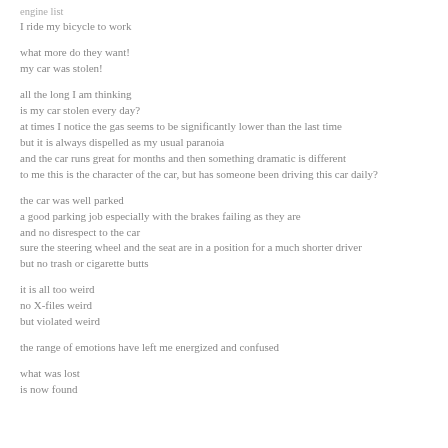engine list
I ride my bicycle to work
what more do they want!
my car was stolen!
all the long I am thinking
is my car stolen every day?
at times I notice the gas seems to be significantly lower than the last time
but it is always dispelled as my usual paranoia
and the car runs great for months and then something dramatic is different
to me this is the character of the car, but has someone been driving this car daily?
the car was well parked
a good parking job especially with the brakes failing as they are
and no disrespect to the car
sure the steering wheel and the seat are in a position for a much shorter driver
but no trash or cigarette butts
it is all too weird
no X-files weird
but violated weird
the range of emotions have left me energized and confused
what was lost
is now found